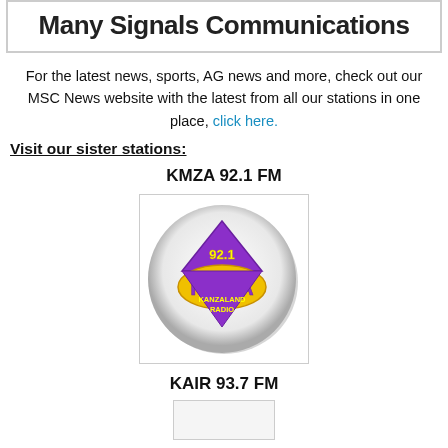Many Signals Communications
For the latest news, sports, AG news and more, check out our MSC News website with the latest from all our stations in one place, click here.
Visit our sister stations:
KMZA 92.1 FM
[Figure (logo): KMZA 92.1 FM Kanzaland Radio logo — a circular emblem with a purple downward-pointing triangle with '92.1' text, yellow 'KMZA' lettering on a shield shape, and 'KANZALAND RADIO' text below, set on a white circular background with shadow]
KAIR 93.7 FM
[Figure (logo): KAIR 93.7 FM logo, partially visible at bottom of page]